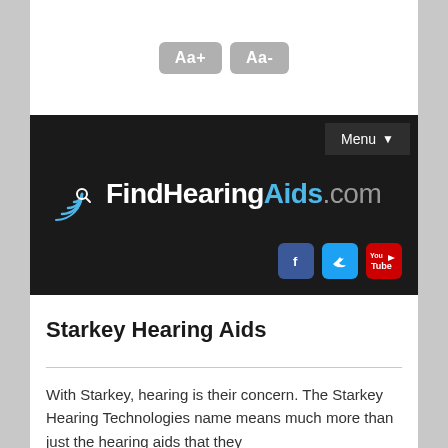[Figure (screenshot): Aa+ and Aa- font size adjustment buttons on white background]
[Figure (logo): FindHearingAids.com logo on dark banner with Menu button, social media icons for Facebook, Twitter, and YouTube]
Starkey Hearing Aids
With Starkey, hearing is their concern. The Starkey Hearing Technologies name means much more than just the hearing aids that they